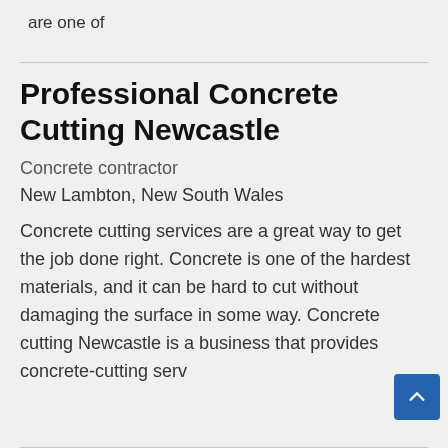are one of
Professional Concrete Cutting Newcastle
Concrete contractor
New Lambton, New South Wales
Concrete cutting services are a great way to get the job done right. Concrete is one of the hardest materials, and it can be hard to cut without damaging the surface in some way. Concrete cutting Newcastle is a business that provides concrete-cutting serv